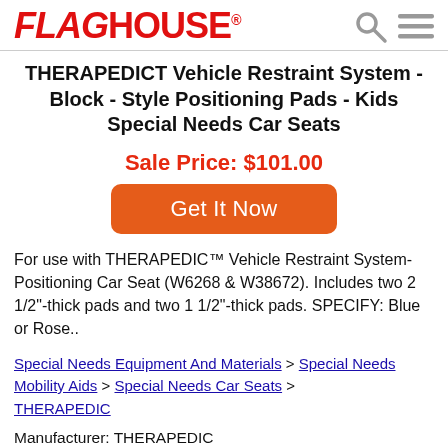FLAGHOUSE® [search icon] [menu icon]
THERAPEDICT Vehicle Restraint System - Block - Style Positioning Pads - Kids Special Needs Car Seats
Sale Price: $101.00
Get It Now
For use with THERAPEDIC™ Vehicle Restraint System- Positioning Car Seat (W6268 & W38672). Includes two 2 1/2"-thick pads and two 1 1/2"-thick pads. SPECIFY: Blue or Rose..
Special Needs Equipment And Materials > Special Needs Mobility Aids > Special Needs Car Seats > THERAPEDIC
Manufacturer: THERAPEDIC
Part Number: 38676 BLU